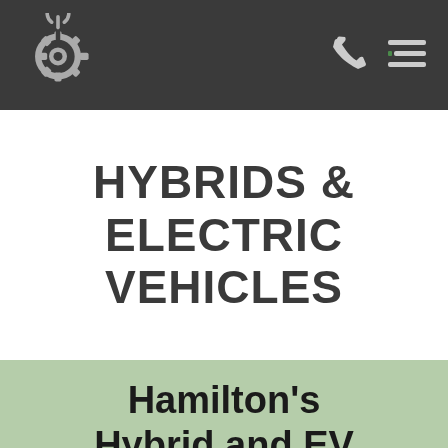Hybrids & Electric Vehicles — Auto repair shop header with logo, phone icon, and menu icon
HYBRIDS & ELECTRIC VEHICLES
Hamilton's Hybrid and EV Specialists